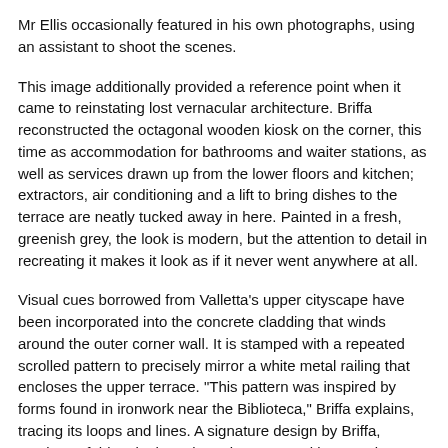Mr Ellis occasionally featured in his own photographs, using an assistant to shoot the scenes.
This image additionally provided a reference point when it came to reinstating lost vernacular architecture. Briffa reconstructed the octagonal wooden kiosk on the corner, this time as accommodation for bathrooms and waiter stations, as well as services drawn up from the lower floors and kitchen; extractors, air conditioning and a lift to bring dishes to the terrace are neatly tucked away in here. Painted in a fresh, greenish grey, the look is modern, but the attention to detail in recreating it makes it look as if it never went anywhere at all.
Visual cues borrowed from Valletta's upper cityscape have been incorporated into the concrete cladding that winds around the outer corner wall. It is stamped with a repeated scrolled pattern to precisely mirror a white metal railing that encloses the upper terrace. "This pattern was inspired by forms found in ironwork near the Biblioteca," Briffa explains, tracing its loops and lines. A signature design by Briffa, versions of this print have been incorporated into previous commissions. "I've only used this in projects I've done in Valletta," he adds, "A kind of Valletta motif, if you like."